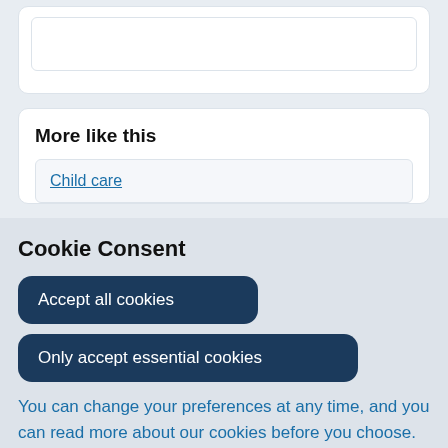[Figure (screenshot): Top portion of a white card with a smaller white inner box, partially visible at top of page]
More like this
Child care
Cookie Consent
Accept all cookies
Only accept essential cookies
You can change your preferences at any time, and you can read more about our cookies before you choose.
Leave Website